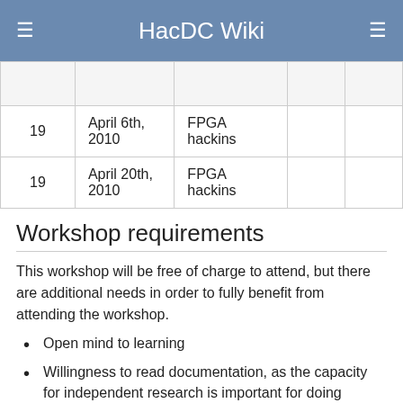HacDC Wiki
|  |  |  |  |  |
| --- | --- | --- | --- | --- |
|  |  |  |  |  |
| 19 | April 6th, 2010 | FPGA hackins |  |  |
| 19 | April 20th, 2010 | FPGA hackins |  |  |
Workshop requirements
This workshop will be free of charge to attend, but there are additional needs in order to fully benefit from attending the workshop.
Open mind to learning
Willingness to read documentation, as the capacity for independent research is important for doing hardware design.
Willin...